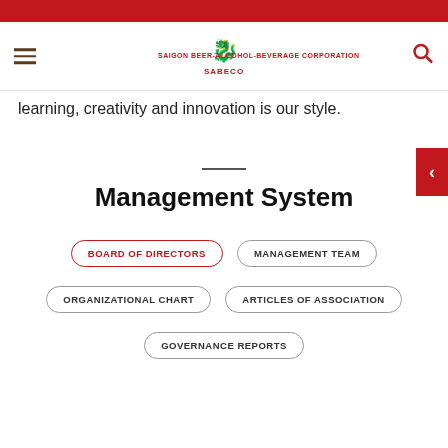SABECO — SAIGON BEER-ALCOHOL-BEVERAGE CORPORATION
learning, creativity and innovation is our style.
Management System
BOARD OF DIRECTORS
MANAGEMENT TEAM
ORGANIZATIONAL CHART
ARTICLES OF ASSOCIATION
GOVERNANCE REPORTS